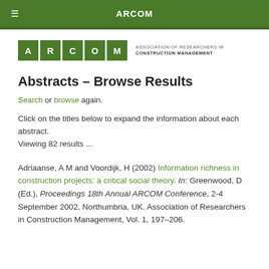ARCOM
[Figure (logo): ARCOM logo — green letter tiles A R C O M — with text: ASSOCIATION OF RESEARCHERS IN CONSTRUCTION MANAGEMENT]
Abstracts – Browse Results
Search or browse again.
Click on the titles below to expand the information about each abstract.
Viewing 82 results ...
Adriaanse, A M and Voordijk, H (2002) Information richness in construction projects: a critical social theory. In: Greenwood, D (Ed.), Proceedings 18th Annual ARCOM Conference, 2-4 September 2002, Northumbria, UK. Association of Researchers in Construction Management, Vol. 1, 197–206.